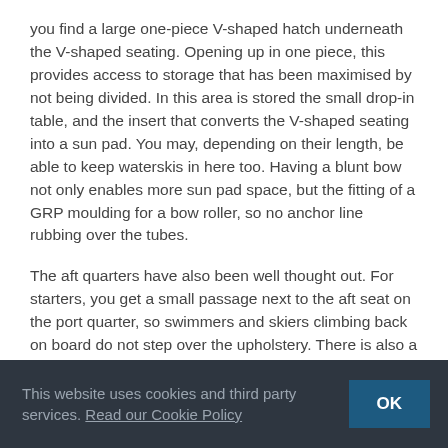you find a large one-piece V-shaped hatch underneath the V-shaped seating. Opening up in one piece, this provides access to storage that has been maximised by not being divided. In this area is stored the small drop-in table, and the insert that converts the V-shaped seating into a sun pad. You may, depending on their length, be able to keep waterskis in here too. Having a blunt bow not only enables more sun pad space, but the fitting of a GRP moulding for a bow roller, so no anchor line rubbing over the tubes.
The aft quarters have also been well thought out. For starters, you get a small passage next to the aft seat on the port quarter, so swimmers and skiers climbing back on board do not step over the upholstery. There is also a neat transom platform fitted with a
This website uses cookies and third party services. Read our Cookie Policy